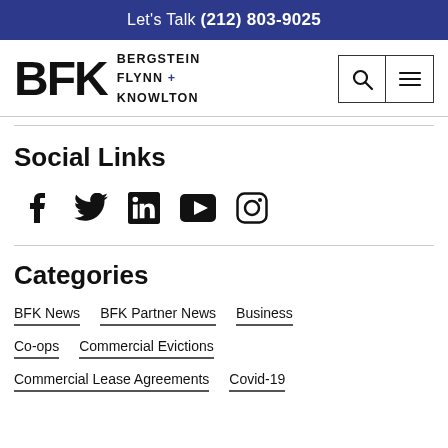Let's Talk (212) 803-9025
[Figure (logo): BFK Bergstein Flynn + Knowlton law firm logo with search and menu icons]
Social Links
[Figure (infographic): Social media icons: Facebook, Twitter, LinkedIn, YouTube, Instagram]
Categories
BFK News
BFK Partner News
Business
Co-ops
Commercial Evictions
Commercial Lease Agreements
Covid-19